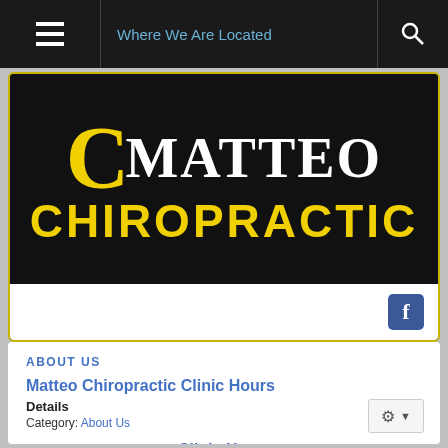Where We Are Located
[Figure (logo): Matteo Chiropractic logo with large yellow C and white serif text on black background]
ABOUT US
Matteo Chiropractic Clinic Hours
Details
Category: About Us
Clinic Hours
Monday